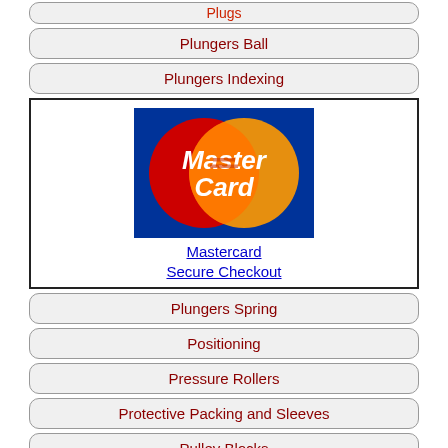Plugs (partial, top)
Plungers Ball
Plungers Indexing
[Figure (logo): MasterCard logo with two overlapping circles (red and orange/yellow) on a dark blue background with 'MasterCard' text, followed by link text 'Mastercard Secure Checkout']
Plungers Spring
Positioning
Pressure Rollers
Protective Packing and Sleeves
Pulley Blocks
Pulleys Flanges